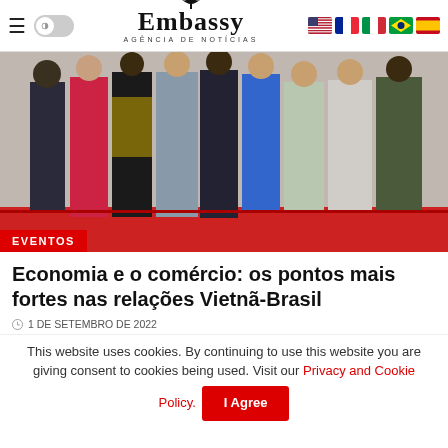Embassy Agência de Notícias
[Figure (photo): Group photo of people in formal/traditional attire standing together at an event, taken indoors on a red floor.]
EVENTOS
Economia e o comércio: os pontos mais fortes nas relações Vietnã-Brasil
1 DE SETEMBRO DE 2022
This website uses cookies. By continuing to use this website you are giving consent to cookies being used. Visit our Privacy and Cookie Policy.
I Agree